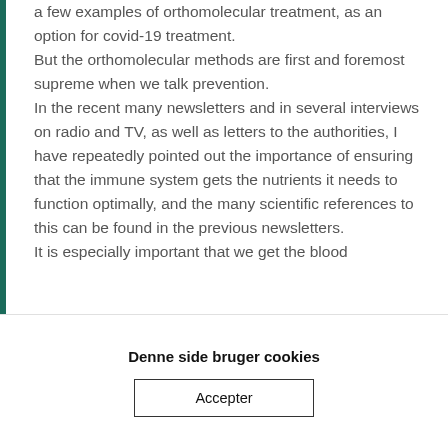a few examples of orthomolecular treatment, as an option for covid-19 treatment. But the orthomolecular methods are first and foremost supreme when we talk prevention. In the recent many newsletters and in several interviews on radio and TV, as well as letters to the authorities, I have repeatedly pointed out the importance of ensuring that the immune system gets the nutrients it needs to function optimally, and the many scientific references to this can be found in the previous newsletters. It is especially important that we get the blood
Denne side bruger cookies
Accepter